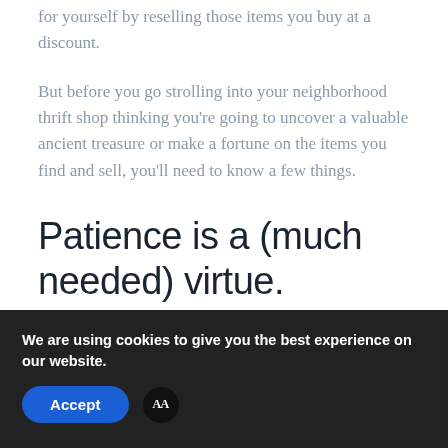for yourself by reselling those items you buy at a discount.
But before you go strolling into your neighborhood thrift shop thinking you're going to uncover a valuable ancient treasure or make a fortune on the items you find and sell, you'll need to know a few things.
Patience is a (much needed) virtue.
If you've never been inside a thrift store before, you
We are using cookies to give you the best experience on our website.